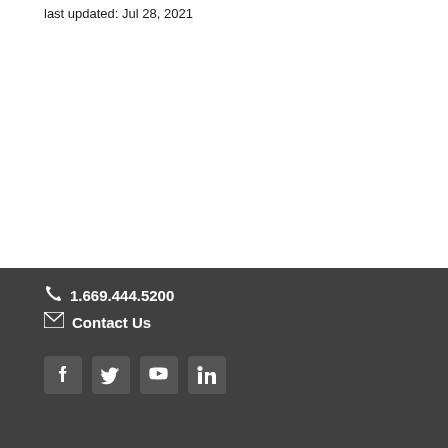last updated: Jul 28, 2021
☎ 1.669.444.5200
✉ Contact Us
[Facebook] [Twitter] [YouTube] [LinkedIn]